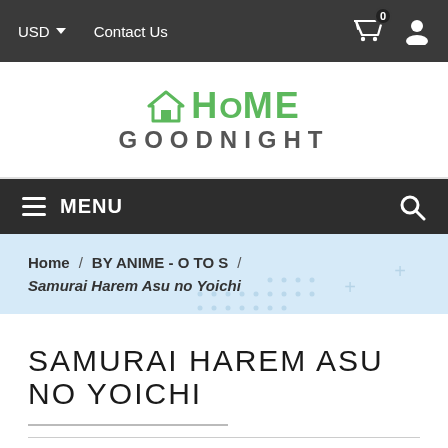USD ▾   Contact Us
[Figure (logo): Home Goodnight logo with house icon in green and text GOODNIGHT in gray]
≡ MENU
Home / BY ANIME - O TO S / Samurai Harem Asu no Yoichi
SAMURAI HAREM ASU NO YOICHI